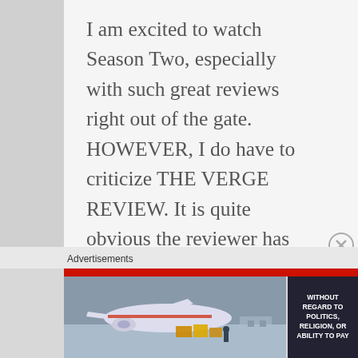I am excited to watch Season Two, especially with such great reviews right out of the gate. HOWEVER, I do have to criticize THE VERGE REVIEW. It is quite obvious the reviewer has no idea
Advertisements
[Figure (photo): Advertisement banner showing an airplane being loaded with cargo, with a red bar at top. A dark sidebar reads 'WITHOUT REGARD TO POLITICS, RELIGION, OR ABILITY TO PAY'.]